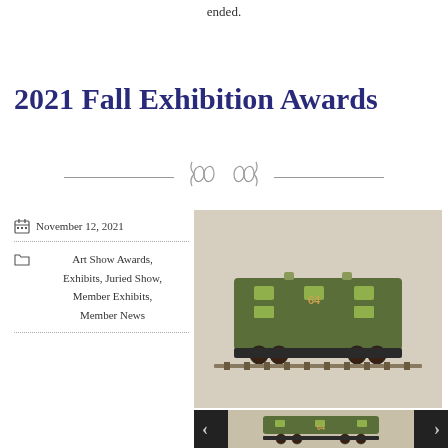ended.
2021 Fall Exhibition Awards
November 12, 2021
Art Show Awards, Exhibits, Juried Show, Member Exhibits, Member News
[Figure (photo): A green model train locomotive on tracks, viewed from the side]
[Figure (photo): Thumbnail gallery strip showing the same green model train with navigation arrows]